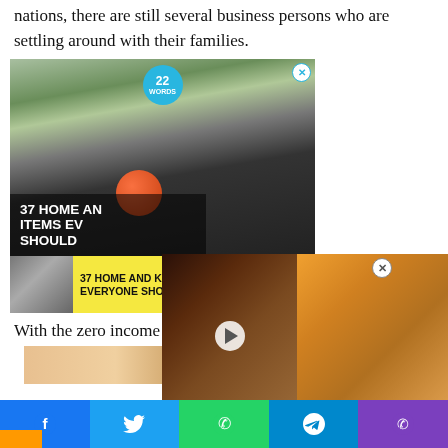nations, there are still several business persons who are settling around with their families.
[Figure (screenshot): Advertisement for '22 Words' showing kitchen gadget and overlay text '37 HOME AND KITCHEN ITEMS EVERYONE SHOULD OWN' with yellow banner ad and video panel]
With the zero income tax levied on workers, you c...
Social sharing bar with Facebook, Twitter, WhatsApp, Telegram, Viber buttons